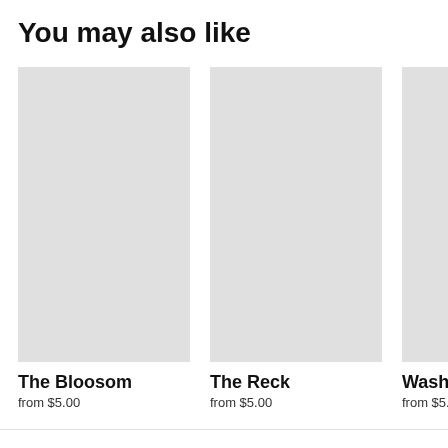You may also like
[Figure (photo): Placeholder product image for The Bloosom]
The Bloosom
from $5.00
[Figure (photo): Placeholder product image for The Reck]
The Reck
from $5.00
[Figure (photo): Placeholder product image for Washed A...]
Washed A
from $5.00